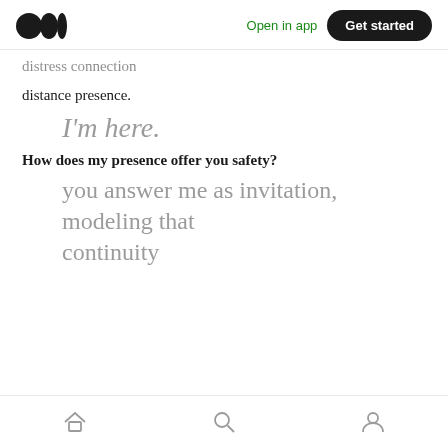Medium logo | Open in app | Get started
distress connection
distance presence.
I'm here.
How does my presence offer you safety?
you answer me as invitation,
modeling that
continuity
Home | Search | Profile